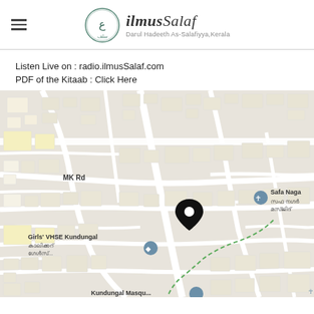ilmusSalaf — Darul Hadeeth As-Salafiyya, Kerala
Listen Live on : radio.ilmusSalaf.com
PDF of the Kitaab : Click Here
[Figure (map): Google Maps showing location with a pin marker near Girls' VHSE Kundungal, Kundungal, Kerala. Labels visible: MK Rd, Safa Naga (Safa Nagar Masjid in Malayalam), Girls' VHSE Kundungal with Malayalam text, Kundungal Masqu... partially visible at bottom. A dashed green path curves through the map. The pin is black and centered in the map.]